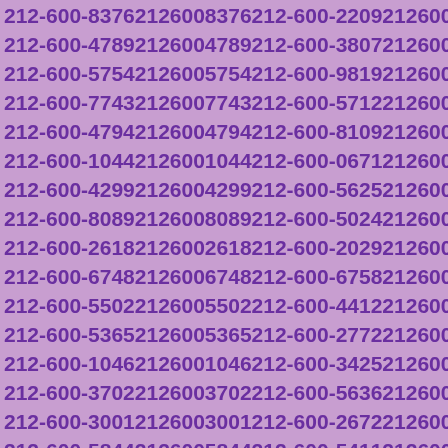212-600-8376 2126008376 212-600-2209 2126002209 212-600-4789 2126004789 212-600-3807 2126003807 212-600-5754 2126005754 212-600-9819 2126009819 212-600-7743 2126007743 212-600-5712 2126005712 212-600-4794 2126004794 212-600-8109 2126008109 212-600-1044 2126001044 212-600-0671 2126000671 212-600-4299 2126004299 212-600-5625 2126005625 212-600-8089 2126008089 212-600-5024 2126005024 212-600-2618 2126002618 212-600-2029 2126002029 212-600-6748 2126006748 212-600-6758 2126006758 212-600-5502 2126005502 212-600-4412 2126004412 212-600-5365 2126005365 212-600-2772 2126002772 212-600-1046 2126001046 212-600-3425 2126003425 212-600-3702 2126003702 212-600-5636 2126005636 212-600-3001 2126003001 212-600-2672 2126002672 212-600-5844 2126005844 212-600-5411 2126005411 212-600-3989 2126003989 212-600-1144 2126001144 212-600-8878 2126008878 212-600-3016 2126003016 212-600-8010 2126008010 212-600-6095 2126006095 212-600-7058 2126007058 212-600-4924 2126004924 212-600-8625 2126008625 212-600-1384 2126001384